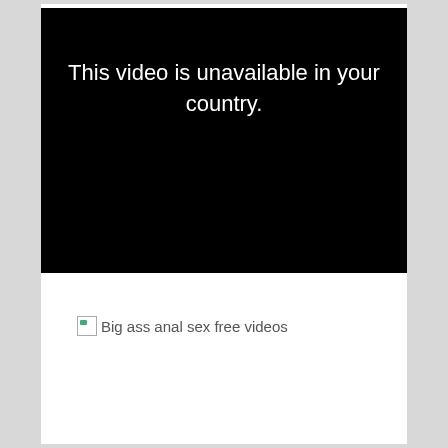[Figure (screenshot): Black video player area displaying the message 'This video is unavailable in your country.' in white text centered near the top of the black rectangle.]
[Figure (other): Broken image placeholder with alt text 'Big ass anal sex free videos']